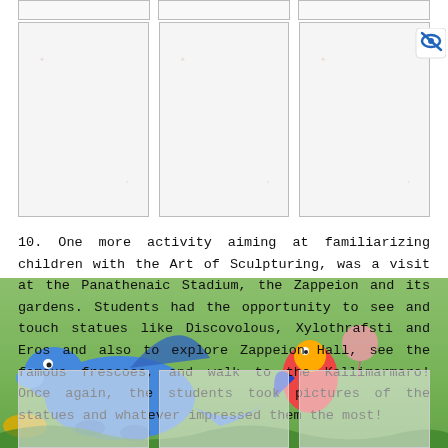[Figure (photo): Three partially visible image placeholder boxes in a top row (clipped at top edge of page)]
[Figure (photo): Three image placeholder boxes in a middle row, with a small logo icon (eye with line through it) in the top-right corner]
10. One more activity aiming at familiarizing children with the Art of Sculpturing, was a visit at the Panathenaic Stadium, the Zappeion and its gardens. Students had the opportunity to see and touch statues like Discovolous, Xylothrafsti and Eros and also to explore Zappeion Hall, see the famous frescoes, and walk to the Kallimarmaro! Once again, the students took pictures of the statues and whatever impressed them the most!
[Figure (illustration): Colorful cartoon dragon and parrot illustration on a green background at the bottom of the page]
[Figure (photo): Three image thumbnail boxes at the bottom of the page over the illustrated background]